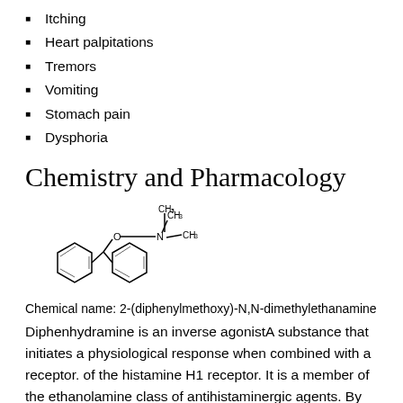Itching
Heart palpitations
Tremors
Vomiting
Stomach pain
Dysphoria
Chemistry and Pharmacology
[Figure (chemical-structure): Structural formula of diphenhydramine showing two phenyl rings connected to a CH group, with an oxygen and a 2-carbon chain terminating in N(CH3)2]
Chemical name: 2-(diphenylmethoxy)-N,N-dimethylethanamine
Diphenhydramine is an inverse agonistA substance that initiates a physiological response when combined with a receptor. of the histamine H1 receptor. It is a member of the ethanolamine class of antihistaminergic agents. By reversing the effects of histamine on the capillaries, it can reduce the intensity of allergic